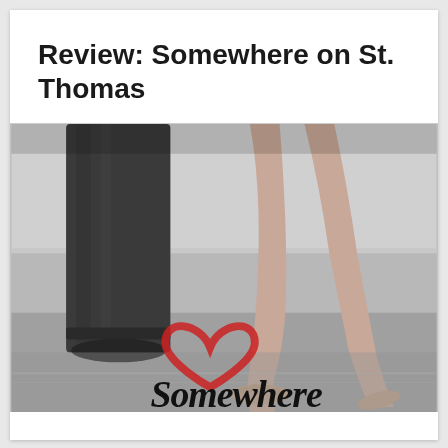Review: Somewhere on St. Thomas
[Figure (photo): Black and white book cover photo showing legs of a couple standing on a wet beach/sand, with the word 'Somewhere' in decorative script at the bottom and a red heart outline overlaid on the image.]